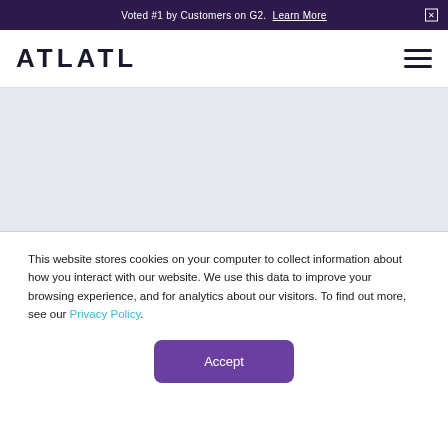Voted #1 by Customers on G2. Learn More
[Figure (logo): ATLATL logo — bold uppercase letters in dark navy]
This website stores cookies on your computer to collect information about how you interact with our website. We use this data to improve your browsing experience, and for analytics about our visitors. To find out more, see our Privacy Policy.
Accept